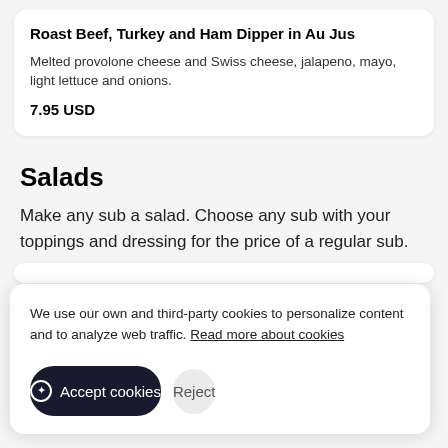Roast Beef, Turkey and Ham Dipper in Au Jus
Melted provolone cheese and Swiss cheese, jalapeno, mayo, light lettuce and onions.
7.95 USD
Salads
Make any sub a salad. Choose any sub with your toppings and dressing for the price of a regular sub.
We use our own and third-party cookies to personalize content and to analyze web traffic. Read more about cookies
Accept cookies
Reject